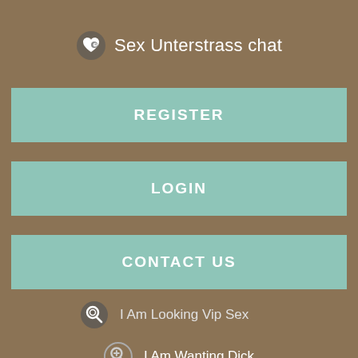Sex Unterstrass chat
REGISTER
LOGIN
CONTACT US
I Am Looking Vip Sex
I Am Wanting Dick
Searching Real Dating